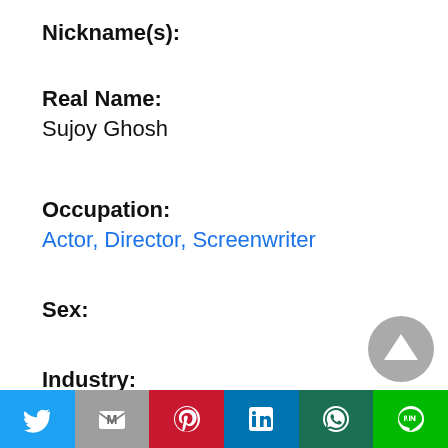Nickname(s):
Real Name:
Sujoy Ghosh
Occupation:
Actor, Director, Screenwriter
Sex:
Industry: